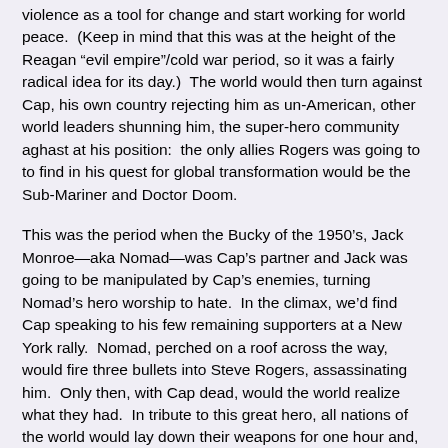violence as a tool for change and start working for world peace.  (Keep in mind that this was at the height of the Reagan “evil empire”/cold war period, so it was a fairly radical idea for its day.)  The world would then turn against Cap, his own country rejecting him as un-American, other world leaders shunning him, the super-hero community aghast at his position:  the only allies Rogers was going to to find in his quest for global transformation would be the Sub-Mariner and Doctor Doom.
This was the period when the Bucky of the 1950’s, Jack Monroe—aka Nomad—was Cap’s partner and Jack was going to be manipulated by Cap’s enemies, turning Nomad’s hero worship to hate.  In the climax, we’d find Cap speaking to his few remaining supporters at a New York rally.  Nomad, perched on a roof across the way, would fire three bullets into Steve Rogers, assassinating him.  Only then, with Cap dead, would the world realize what they had.  In tribute to this great hero, all nations of the world would lay down their weapons for one hour and, for sixty short minutes, the world would know peace.
Of course, I didn’t want Captain America to stay dead and…